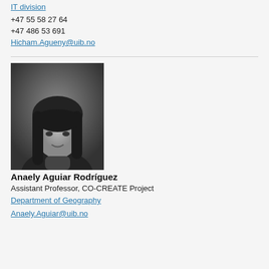IT division
+47 55 58 27 64
+47 486 53 691
Hicham.Agueny@uib.no
[Figure (photo): Black and white portrait photo of Anaely Aguiar Rodríguez, a woman with long dark hair and bangs, wearing a turtleneck, smiling slightly]
Anaely Aguiar Rodríguez
Assistant Professor, CO-CREATE Project
Department of Geography
Anaely.Aguiar@uib.no